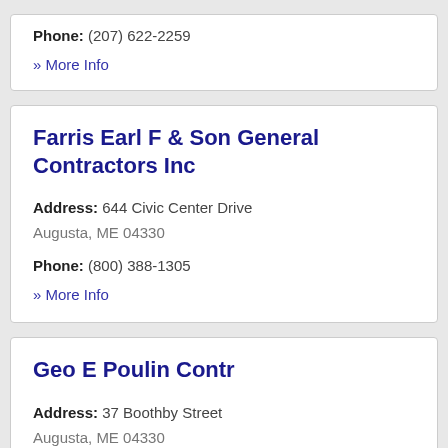Phone: (207) 622-2259
» More Info
Farris Earl F & Son General Contractors Inc
Address: 644 Civic Center Drive Augusta, ME 04330
Phone: (800) 388-1305
» More Info
Geo E Poulin Contr
Address: 37 Boothby Street Augusta, ME 04330
Phone: (207) 622-6015